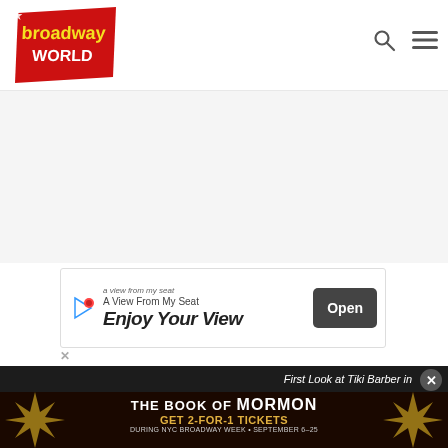[Figure (logo): Broadway World logo - red diagonal banner with yellow 'broadway' text and 'WORLD' below]
[Figure (screenshot): Gray empty content area below header]
[Figure (screenshot): Advertisement banner: A View From My Seat - Enjoy Your View - Open button]
First Look at Tiki Barber in
[Figure (screenshot): The Book of Mormon advertisement - GET 2-FOR-1 TICKETS DURING NYC BROADWAY WEEK • SEPTEMBER 6-25 USE CODE BWAYWK - GET TICKETS button]